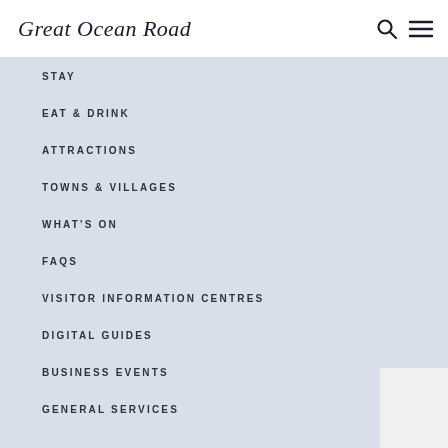Great Ocean Road
STAY
EAT & DRINK
ATTRACTIONS
TOWNS & VILLAGES
WHAT'S ON
FAQS
VISITOR INFORMATION CENTRES
DIGITAL GUIDES
BUSINESS EVENTS
GENERAL SERVICES